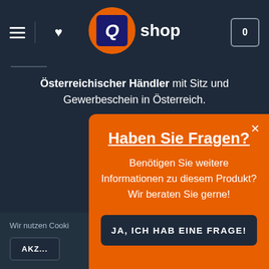[Figure (logo): Q-shop logo: orange circle with dark blue rounded Q letter, followed by 'shop' text in white]
Österreichischer Händler mit Sitz und Gewerbeschein in Österreich.
Haben Sie Fragen?
Benötigen Sie weitere Informationen zu diesem Produkt? Wir beraten Sie gerne!
JA, ICH HAB EINE FRAGE!
Wir nutzen Cooki...
AKZE...